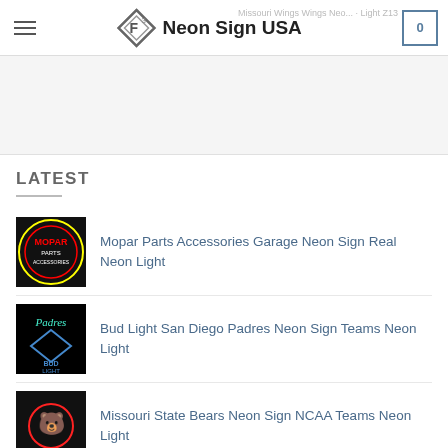Neon Sign USA
[Figure (logo): Neon Sign USA logo with diamond shape and superscript 3]
LATEST
[Figure (photo): Mopar Parts Accessories circular neon sign on black background]
Mopar Parts Accessories Garage Neon Sign Real Neon Light
[Figure (photo): Bud Light San Diego Padres neon sign on black background]
Bud Light San Diego Padres Neon Sign Teams Neon Light
[Figure (photo): Missouri State Bears neon sign NCAA teams on dark background]
Missouri State Bears Neon Sign NCAA Teams Neon Light